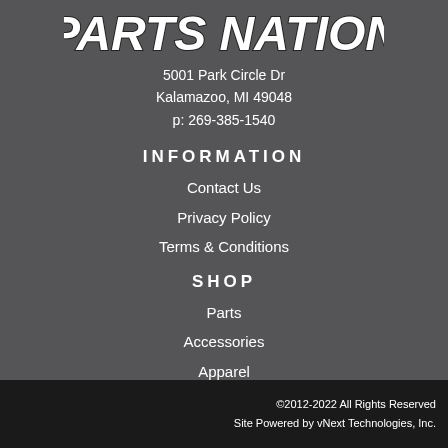[Figure (logo): Parts Nation logo in bold italic white text with dark outline on grey background]
5001 Park Circle Dr
Kalamazoo, MI 49048
p: 269-385-1540
INFORMATION
Contact Us
Privacy Policy
Terms & Conditions
SHOP
Parts
Accessories
Apparel
©2012-2022 All Rights Reserved
Site Powered by vNext Technologies, Inc.